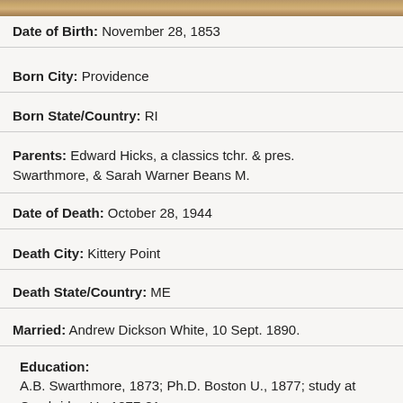[Figure (photo): Partial photograph of a person, cropped at top of page]
Date of Birth: November 28, 1853
Born City: Providence
Born State/Country: RI
Parents: Edward Hicks, a classics tchr. & pres. Swarthmore, & Sarah Warner Beans M.
Date of Death: October 28, 1944
Death City: Kittery Point
Death State/Country: ME
Married: Andrew Dickson White, 10 Sept. 1890.
Education: A.B. Swarthmore, 1873; Ph.D. Boston U., 1877; study at Cambridge U., 1877-81.
Dissertation: "The Greek Drama" (Boston U., 1877).